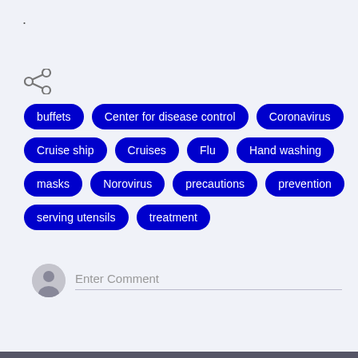[Figure (infographic): Share icon (three connected dots forming a share symbol)]
buffets
Center for disease control
Coronavirus
Cruise ship
Cruises
Flu
Hand washing
masks
Norovirus
precautions
prevention
serving utensils
treatment
Enter Comment